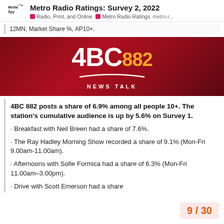Metro Radio Ratings: Survey 2, 2022 | Radio, Print, and Online | Metro Radio Ratings | metro-r...
12MN, Market Share %, AP10+.
[Figure (logo): 4BC 882 News Talk radio station logo on dark red background]
4BC 882 posts a share of 6.9% among all people 10+. The station's cumulative audience is up by 5.6% on Survey 1.
· Breakfast with Neil Breen had a share of 7.6%.
· The Ray Hadley Morning Show recorded a share of 9.1% (Mon-Fri 9.00am-11.00am).
· Afternoons with Sofie Formica had a share of 6.3% (Mon-Fri 11.00am–3.00pm).
· Drive with Scott Emerson had a share
9 / 30